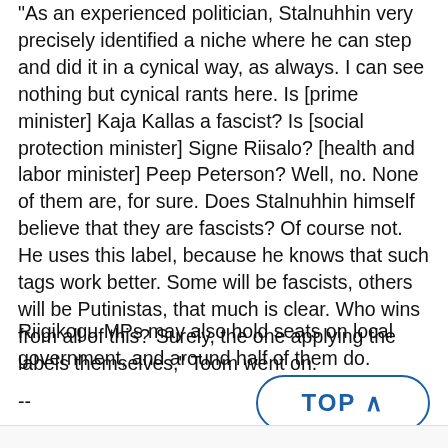"As an experienced politician, Stalnuhhin very precisely identified a niche where he can step and did it in a cynical way, as always. I can see nothing but cynical rants here. Is [prime minister] Kaja Kallas a fascist? Is [social protection minister] Signe Riisalo? [health and labor minister] Peep Peterson? Well, no. None of them are, for sure. Does Stalnuhhin himself believe that they are fascists? Of course not. He uses this label, because he knows that such tags work better. Some will be fascists, others will be Putinistas, that much is clear. Who wins from all of this? Surely, the one applying the labels themselves," Toom went on.
Riigikogu MPs may also hold seats on local government, and around half of them do.
--